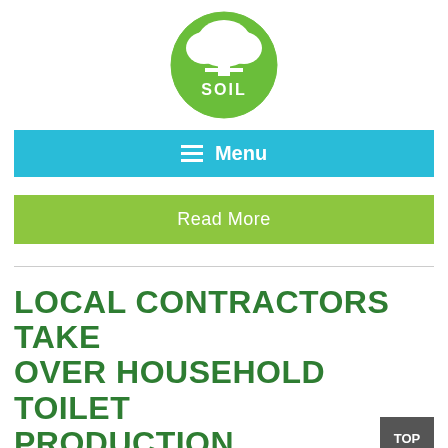[Figure (logo): SOIL organization logo: green circle with white tree silhouette on top and 'SOIL' text at bottom in white letters on green background]
Menu
Read More
LOCAL CONTRACTORS TAKE OVER HOUSEHOLD TOILET PRODUCTION